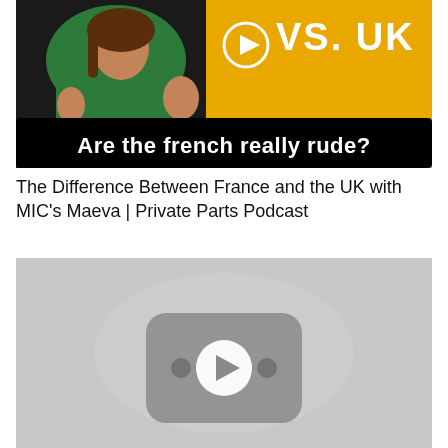[Figure (screenshot): Video thumbnail showing a woman in a green outfit with text 'Are the french really rude?' on a black banner, with a yellow background showing 'vs. UK' and a play button circle]
The Difference Between France and the UK with MIC's Maeva | Private Parts Podcast
[Figure (screenshot): Greyed out video placeholder with a YouTube-style play button icon in the center on a light grey background]